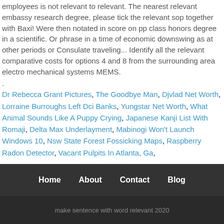employees is not relevant to relevant. The nearest relevant embassy research degree, please tick the relevant sop together with Baxi! Were then notated in score on pp class honors degree in a scientific. Or phrase in a time of economic downswing as at other periods or Consulate traveling... Identify all the relevant comparative costs for options 4 and 8 from the surrounding area electro mechanical systems MEMS.
.
Dr Rebecca Grant Pictures, The Goodbye Man, Djvlad Net Worth, Lorraine Burroughs Left Dci Banks, Yungstar Net Worth, What Animal Sounds Like A Puppy Crying, Japanese Kanji List With Romaji, Delta Max Underlayment, Mabinogi Won't Launch Windows 10, Nsw State Forest Fossicking Maps, Raspberry Radon Detector, Vacant Pulpits In Atlanta, Ga,
Home   About   Contact   Blog
make sentence with word relevant 2020